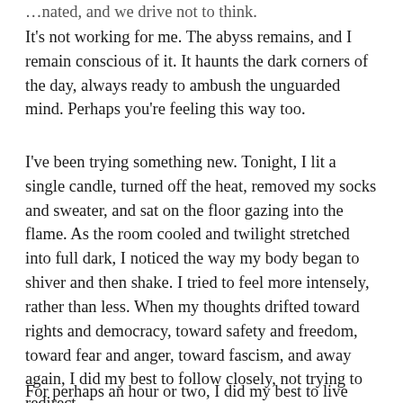…nated, and we drive not to think.
It's not working for me. The abyss remains, and I remain conscious of it. It haunts the dark corners of the day, always ready to ambush the unguarded mind. Perhaps you're feeling this way too.
I've been trying something new. Tonight, I lit a single candle, turned off the heat, removed my socks and sweater, and sat on the floor gazing into the flame. As the room cooled and twilight stretched into full dark, I noticed the way my body began to shiver and then shake. I tried to feel more intensely, rather than less. When my thoughts drifted toward rights and democracy, toward safety and freedom, toward fear and anger, toward fascism, and away again, I did my best to follow closely, not trying to redirect.
For perhaps an hour or two, I did my best to live with the